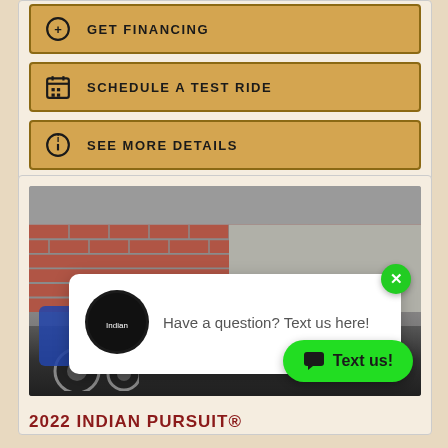GET FINANCING
SCHEDULE A TEST RIDE
SEE MORE DETAILS
[Figure (photo): Motorcycle (2022 Indian Pursuit) parked in front of a brick wall, with Indian Motorcycle chat popup overlay showing 'Have a question? Text us here!' and a green 'Text us!' button]
2022 INDIAN PURSUIT®